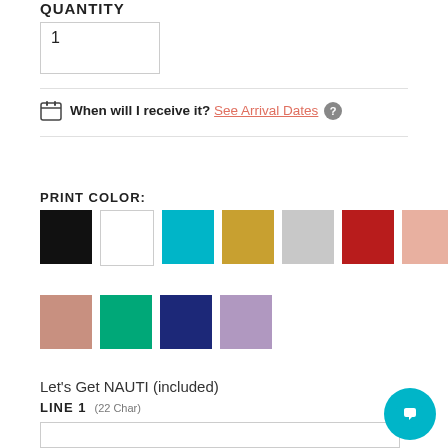QUANTITY
1
When will I receive it? See Arrival Dates ?
PRINT COLOR:
[Figure (other): Color swatches row 1: black, white, teal, gold, silver, red, pink]
[Figure (other): Color swatches row 2: mauve, green, navy, lavender]
Let's Get NAUTI (included)
LINE 1  (22 Char)